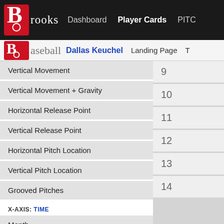Brooks Baseball — Dashboard | Player Cards | PITC...
Brooks Baseball — Dallas Keuchel | Landing Page | T...
Vertical Movement
Vertical Movement + Gravity
Horizontal Release Point
Vertical Release Point
Horizontal Pitch Location
Vertical Pitch Location
Grooved Pitches
X-AXIS: TIME
Month
Year
Game